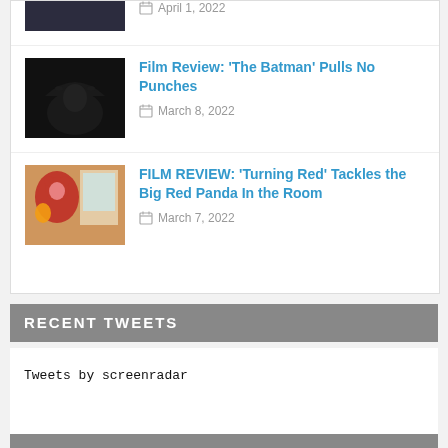[Figure (photo): Partial thumbnail of a dark movie scene, cropped at top]
April 1, 2022
[Figure (photo): Dark moody image of Batman character]
Film Review: 'The Batman' Pulls No Punches
March 8, 2022
[Figure (photo): Red panda character from Turning Red movie]
FILM REVIEW: 'Turning Red' Tackles the Big Red Panda In the Room
March 7, 2022
RECENT TWEETS
Tweets by screenradar